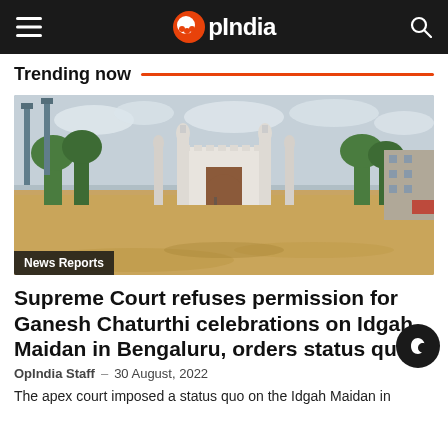OpIndia
Trending now
[Figure (photo): Wide-angle photo of Idgah Maidan ground in Bengaluru showing a large open sandy field with a white mosque/masjid building with minarets in the centre background, surrounded by trees. Buildings and communication towers are visible on the sides. Overcast sky above.]
News Reports
Supreme Court refuses permission for Ganesh Chaturthi celebrations on Idgah Maidan in Bengaluru, orders status quo
OpIndia Staff · 30 August, 2022
The apex court imposed a status quo on the Idgah Maidan in